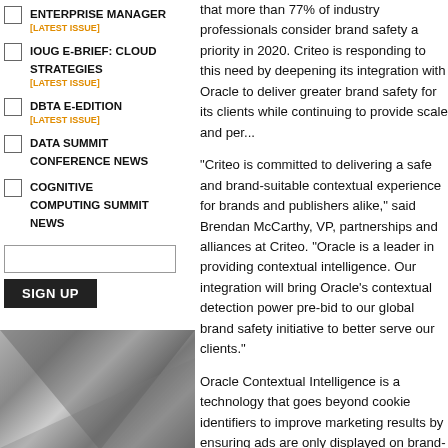ENTERPRISE MANAGER [LATEST ISSUE]
IOUG E-BRIEF: CLOUD STRATEGIES [LATEST ISSUE]
DBTA E-EDITION [LATEST ISSUE]
DATA SUMMIT CONFERENCE NEWS
COGNITIVE COMPUTING SUMMIT NEWS
that more than 77% of industry professionals consider brand safety a priority in 2020. Criteo is responding to this need by deepening its integration with Oracle to deliver greater brand safety for its clients while continuing to provide scale and per...
"Criteo is committed to delivering a safe and brand-suitable contextual experience for brands and publishers alike," said Brendan McCarthy, VP, partnerships and alliances at Criteo. "Oracle is a leader in providing contextual intelligence. Our integration will bring Oracle’s contextual detection power pre-bid to our global brand safety initiative to better serve our clients."
Oracle Contextual Intelligence is a technology that goes beyond cookie identifiers to improve marketing results by ensuring ads are only displayed on brand-suitable advertising sites with relevant content. Using adaptive machine learning, the system categorizes keywords on web pages so advertisers can avoid being associated with negative content and keywords. The system also helps brands place advertisements in contexts that are...
[Figure (photo): Abstract geometric pattern with overlapping triangles in shades of gray]